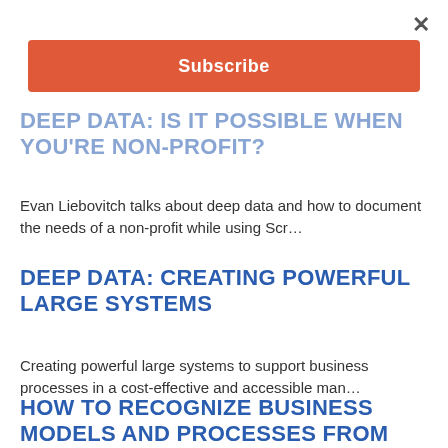×
Subscribe
DEEP DATA: IS IT POSSIBLE WHEN YOU'RE NON-PROFIT?
Evan Liebovitch talks about deep data and how to document the needs of a non-profit while using Scr…
DEEP DATA: CREATING POWERFUL LARGE SYSTEMS
Creating powerful large systems to support business processes in a cost-effective and accessible man…
HOW TO RECOGNIZE BUSINESS MODELS AND PROCESSES FROM DEEP DATA